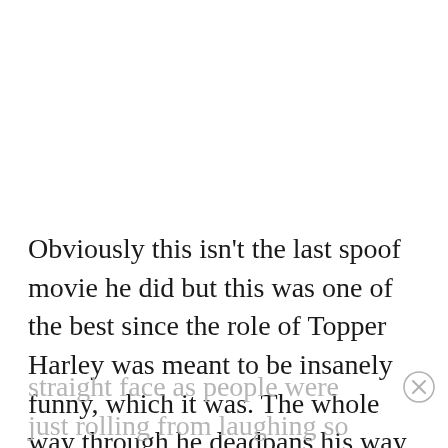Obviously this isn't the last spoof movie he did but this was one of the best since the role of Topper Harley was meant to be insanely funny, which it was. The whole way through he deadpans his way through the humorous moments and keeps a straight face as people were just rolling from laughing so hard. The sequel was close to being just as funny but there was a certain quality about